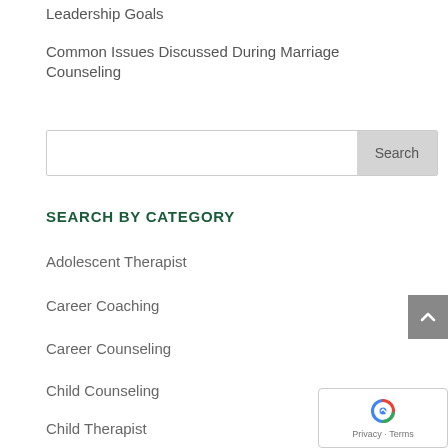Leadership Goals
Common Issues Discussed During Marriage Counseling
Search
SEARCH BY CATEGORY
Adolescent Therapist
Career Coaching
Career Counseling
Child Counseling
Child Therapist